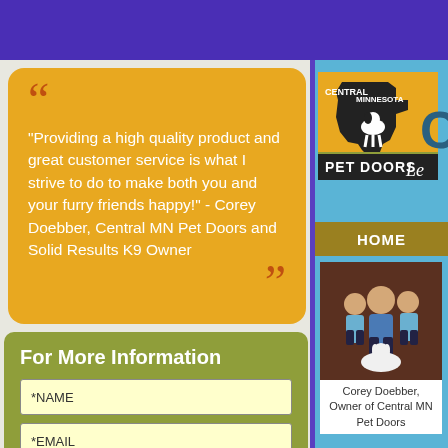“Providing a high quality product and great customer service is what I strive to do to make both you and your furry friends happy!” - Corey Doebber, Central MN Pet Doors and Solid Results K9 Owner
For More Information
*NAME
*EMAIL
*PHONE
[Figure (logo): Central Minnesota Pet Doors logo with Minnesota state silhouette and dog silhouette]
HOME
[Figure (photo): Corey Doebber with two boys and a white dog, family portrait]
Corey Doebber, Owner of Central MN Pet Doors